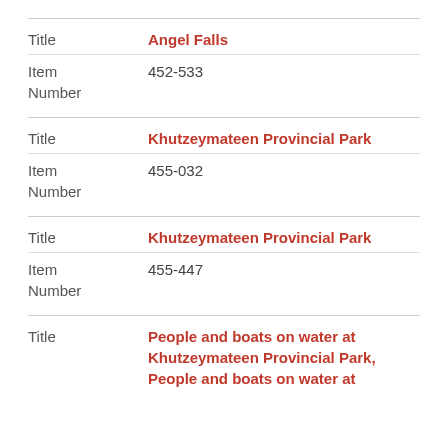| Field | Value |
| --- | --- |
| Title | Angel Falls |
| Item Number | 452-533 |
| Title | Khutzeymateen Provincial Park |
| Item Number | 455-032 |
| Title | Khutzeymateen Provincial Park |
| Item Number | 455-447 |
| Title | People and boats on water at Khutzeymateen Provincial Park, People and boats on water at |